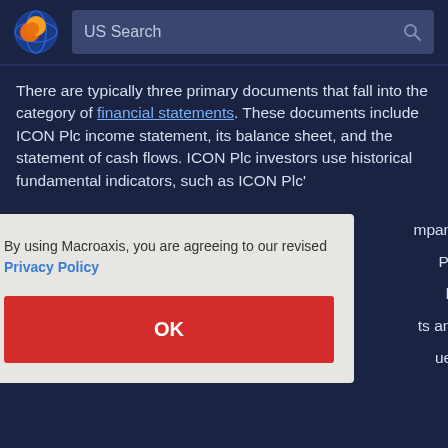US Search
There are typically three primary documents that fall into the category of financial statements. These documents include ICON Plc income statement, its balance sheet, and the statement of cash flows. ICON Plc investors use historical fundamental indicators, such as ICON Plc's
By using Macroaxis, you are agreeing to our revised Privacy Policy
OK